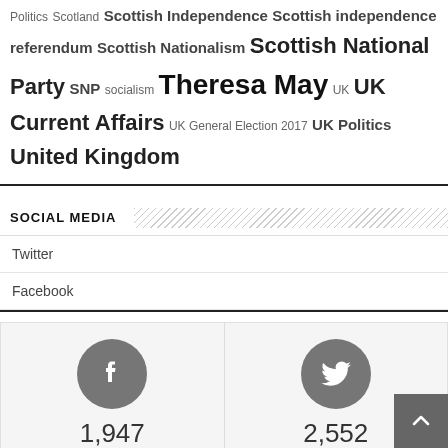Politics Scotland Scottish Independence Scottish independence referendum Scottish Nationalism Scottish National Party SNP socialism Theresa May UK UK Current Affairs UK General Election 2017 UK Politics United Kingdom
SOCIAL MEDIA
Twitter
Facebook
[Figure (infographic): Facebook icon circle with 1,947 Fans and Twitter icon circle with 2,552 Followers]
COMPANY INFO
About